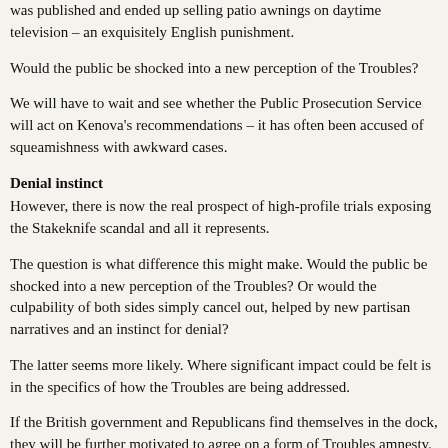was published and ended up selling patio awnings on daytime television – an exquisitely English punishment.
Would the public be shocked into a new perception of the Troubles?
We will have to wait and see whether the Public Prosecution Service will act on Kenova's recommendations – it has often been accused of squeamishness with awkward cases.
Denial instinct
However, there is now the real prospect of high-profile trials exposing the Stakeknife scandal and all it represents.
The question is what difference this might make. Would the public be shocked into a new perception of the Troubles? Or would the culpability of both sides simply cancel out, helped by new partisan narratives and an instinct for denial?
The latter seems more likely. Where significant impact could be felt is in the specifics of how the Troubles are being addressed.
If the British government and Republicans find themselves in the dock, they will be further motivated to agree on a form of Troubles amnesty. This has been their shared objective throughout the peace